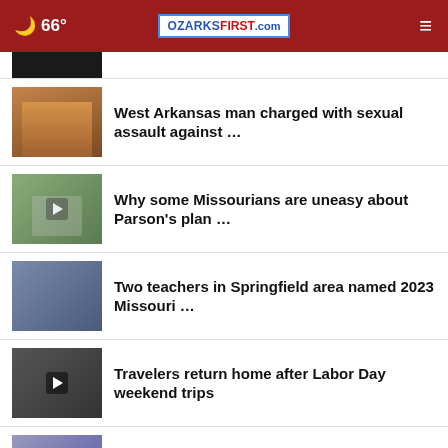66° OZARKSFIRST.com
West Arkansas man charged with sexual assault against …
Why some Missourians are uneasy about Parson's plan …
Two teachers in Springfield area named 2023 Missouri …
Travelers return home after Labor Day weekend trips
Report: Missourians have 5th-worst lung health in …
[Figure (infographic): Do it Center / Home Center advertisement: YOUR SOURCE FOR DIY RIGHT HERE, RIGHT NOW!]
More Stories